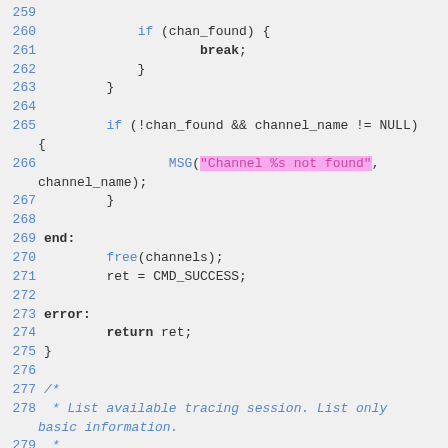Code snippet lines 259-280 showing C source code with syntax highlighting
[Figure (screenshot): Source code viewer showing C code lines 259-280 with syntax highlighting: blue line numbers, magenta/pink string literal highlight, blue keywords, and italic blue comments]